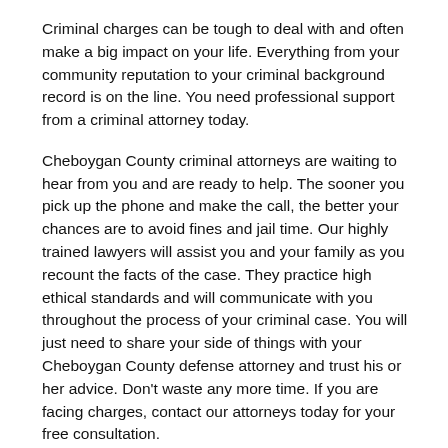Criminal charges can be tough to deal with and often make a big impact on your life. Everything from your community reputation to your criminal background record is on the line. You need professional support from a criminal attorney today.
Cheboygan County criminal attorneys are waiting to hear from you and are ready to help. The sooner you pick up the phone and make the call, the better your chances are to avoid fines and jail time. Our highly trained lawyers will assist you and your family as you recount the facts of the case. They practice high ethical standards and will communicate with you throughout the process of your criminal case. You will just need to share your side of things with your Cheboygan County defense attorney and trust his or her advice. Don't waste any more time. If you are facing charges, contact our attorneys today for your free consultation.
Many Areas of Practice
The lawyers that will be a good fit for you in the area that...